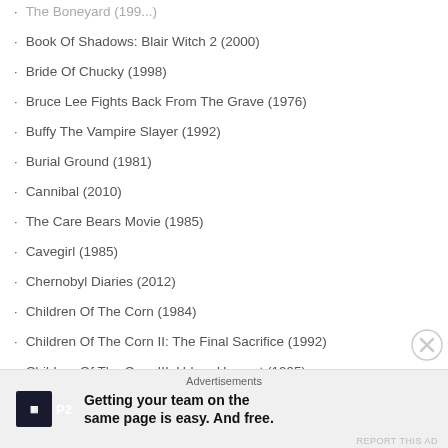The Boneyard (199...)
Book Of Shadows: Blair Witch 2 (2000)
Bride Of Chucky (1998)
Bruce Lee Fights Back From The Grave (1976)
Buffy The Vampire Slayer (1992)
Burial Ground (1981)
Cannibal (2010)
The Care Bears Movie (1985)
Cavegirl (1985)
Chernobyl Diaries (2012)
Children Of The Corn (1984)
Children Of The Corn II: The Final Sacrifice (1992)
Children Of The Corn III: Urban Harvest (1995)
Child's Play (1988)
Child's Play 2 (1990)
Child's Play 3 (1991)
Advertisements
Getting your team on the same page is easy. And free.